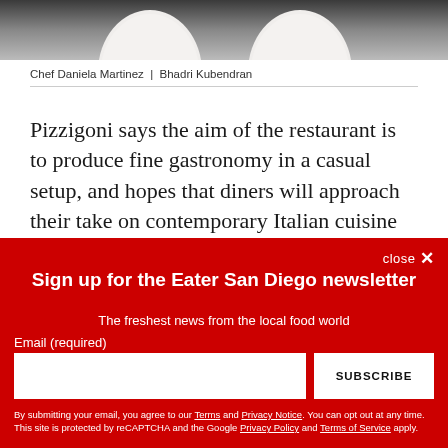[Figure (photo): Partial photo showing white egg-shaped or round food items (possibly dumplings or eggs) on a dark background, cropped at top of page]
Chef Daniela Martinez  |  Bhadri Kubendran
Pizzigoni says the aim of the restaurant is to produce fine gastronomy in a casual setup, and hopes that diners will approach their take on contemporary Italian cuisine that uses primarily local ingredients with an open mind. With
close ✕
Sign up for the Eater San Diego newsletter
The freshest news from the local food world
Email (required)
SUBSCRIBE
By submitting your email, you agree to our Terms and Privacy Notice. You can opt out at any time. This site is protected by reCAPTCHA and the Google Privacy Policy and Terms of Service apply.